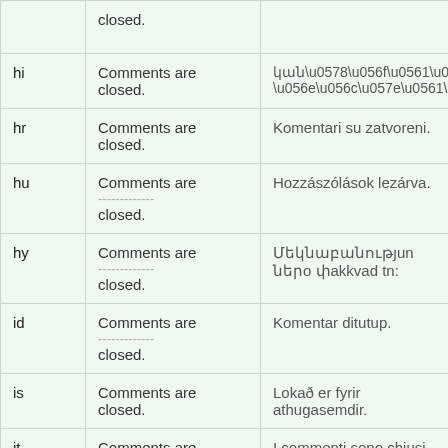| Code | English | Translation | Link |
| --- | --- | --- | --- |
|  | closed. |  |  |
| hi | Comments are closed. | կանոկագլություննև ծլվածլգլվախ | Details |
| hr | Comments are closed. | Komentari su zatvoreni. | Details |
| hu | Comments are ------------- closed. | Hozzászólások lezárva. | Details |
| hy | Comments are ------------- closed. | Մեկնաբանություններ փակված են: | Details |
| id | Comments are ------------- closed. | Komentar ditutup. | Details |
| is | Comments are closed. | Lokað er fyrir athugasemdir. | Details |
| it | Comments are ------------- closed. | I commenti sono chiusi. | Details |